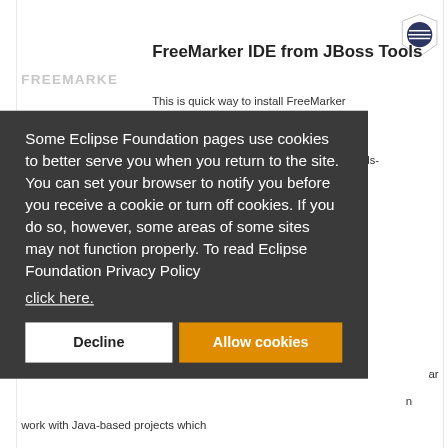[Figure (logo): Eclipse IDE logo - dark blue circle with horizontal lines, in a shield/badge shape]
[Figure (logo): FreeMarker watermark text logo in light gray]
FreeMarker IDE from JBoss Tools
This is quick way to install FreeMarker
at
stools-
Some Eclipse Foundation pages use cookies to better serve you when you return to the site. You can set your browser to notify you before you receive a cookie or turn off cookies. If you do so, however, some areas of some sites may not function properly. To read Eclipse Foundation Privacy Policy
click here.
Decline
Allow cookies
ar
n
work with Java-based projects which